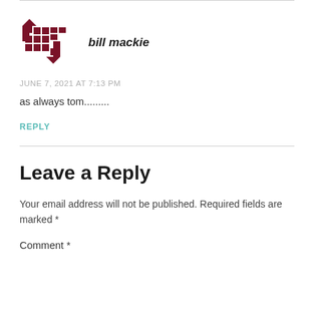[Figure (logo): Dark red pixelated/geometric logo icon resembling interlocking squares with arrows]
bill mackie
JUNE 7, 2021 AT 7:13 PM
as always tom.........
REPLY
Leave a Reply
Your email address will not be published. Required fields are marked *
Comment *